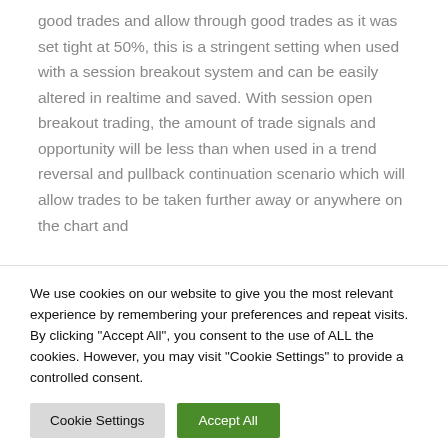good trades and allow through good trades as it was set tight at 50%, this is a stringent setting when used with a session breakout system and can be easily altered in realtime and saved. With session open breakout trading, the amount of trade signals and opportunity will be less than when used in a trend reversal and pullback continuation scenario which will allow trades to be taken further away or anywhere on the chart and
We use cookies on our website to give you the most relevant experience by remembering your preferences and repeat visits. By clicking "Accept All", you consent to the use of ALL the cookies. However, you may visit "Cookie Settings" to provide a controlled consent.